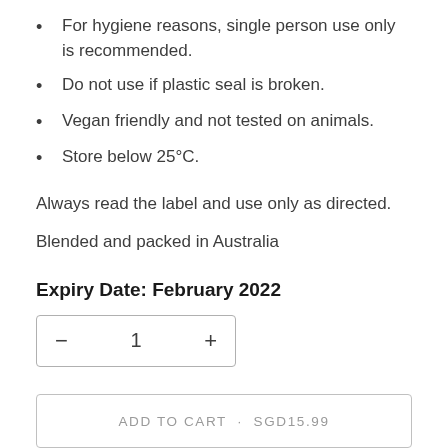For hygiene reasons, single person use only is recommended.
Do not use if plastic seal is broken.
Vegan friendly and not tested on animals.
Store below 25°C.
Always read the label and use only as directed.
Blended and packed in Australia
Expiry Date: February 2022
− 1 +
ADD TO CART · SGD15.99